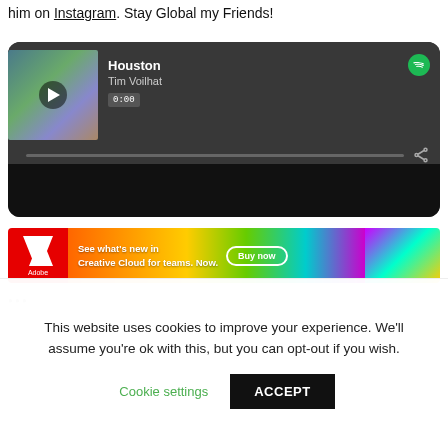him on Instagram. Stay Global my Friends!
[Figure (screenshot): Spotify embedded music player showing track 'Houston' by Tim Voilhat, with album art of a person with curly blonde hair wearing a space suit, timestamp 0:00, dark themed player]
[Figure (screenshot): Adobe Creative Cloud advertisement banner with red Adobe logo on left, gradient rainbow background in middle with text 'See what's new in Creative Cloud for teams. Now.' and a 'Buy now' button, headphones on the right side]
This website uses cookies to improve your experience. We'll assume you're ok with this, but you can opt-out if you wish.
Cookie settings    ACCEPT